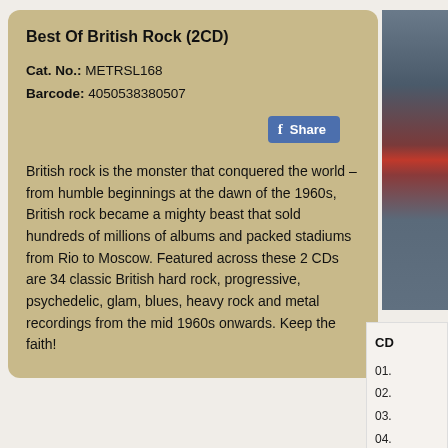Best Of British Rock (2CD)
Cat. No.: METRSL168
Barcode: 4050538380507
[Figure (other): Facebook Share button with blue background and 'f Share' text]
British rock is the monster that conquered the world – from humble beginnings at the dawn of the 1960s, British rock became a mighty beast that sold hundreds of millions of albums and packed stadiums from Rio to Moscow. Featured across these 2 CDs are 34 classic British hard rock, progressive, psychedelic, glam, blues, heavy rock and metal recordings from the mid 1960s onwards. Keep the faith!
[Figure (photo): Partial view of album cover art with red triangle/logo element on denim-textured background]
CD
01.
02.
03.
04.
05.